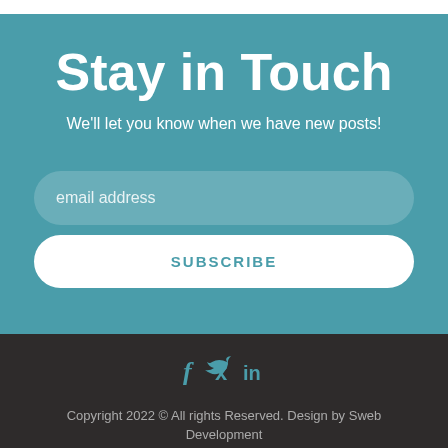Stay in Touch
We'll let you know when we have new posts!
email address
SUBSCRIBE
[Figure (illustration): Social media icons: Facebook (f), Twitter (bird), LinkedIn (in)]
Copyright 2022 © All rights Reserved. Design by Sweb Development